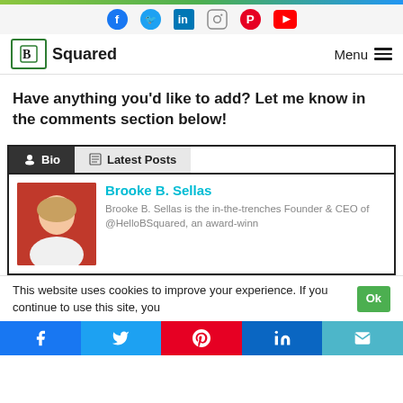B Squared — social media bar with Facebook, Twitter, LinkedIn, Instagram, Pinterest, YouTube icons
B Squared logo | Menu
Have anything you'd like to add? Let me know in the comments section below!
Bio | Latest Posts
Brooke B. Sellas — Brooke B. Sellas is the in-the-trenches Founder & CEO of @HelloBSquared, an award-winn
This website uses cookies to improve your experience. If you continue to use this site, you
Share buttons: Facebook, Twitter, Pinterest, LinkedIn, Email